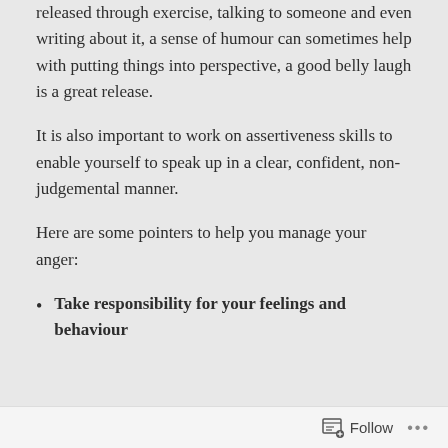released through exercise, talking to someone and even writing about it, a sense of humour can sometimes help with putting things into perspective, a good belly laugh is a great release.
It is also important to work on assertiveness skills to enable yourself to speak up in a clear, confident, non-judgemental manner.
Here are some pointers to help you manage your anger:
Take responsibility for your feelings and behaviour
Follow ···